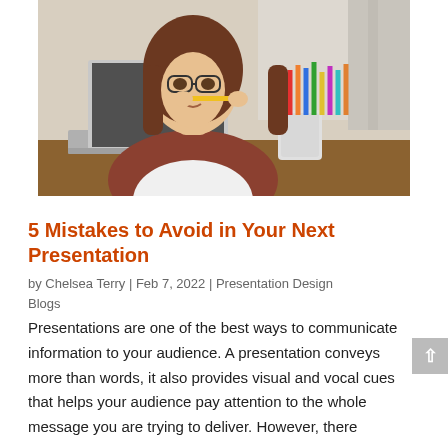[Figure (photo): A young woman with long hair biting a pencil while sitting at a desk with a laptop and a cup of colored pencils]
5 Mistakes to Avoid in Your Next Presentation
by Chelsea Terry | Feb 7, 2022 | Presentation Design Blogs
Presentations are one of the best ways to communicate information to your audience. A presentation conveys more than words, it also provides visual and vocal cues that helps your audience pay attention to the whole message you are trying to deliver. However, there are…